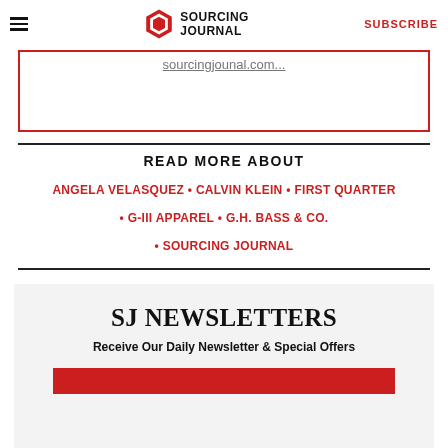Sourcing Journal | SUBSCRIBE
sourcingjounal.com...
READ MORE ABOUT
ANGELA VELASQUEZ • CALVIN KLEIN • FIRST QUARTER • G-III APPAREL • G.H. BASS & CO. • SOURCING JOURNAL
SJ NEWSLETTERS
Receive Our Daily Newsletter & Special Offers